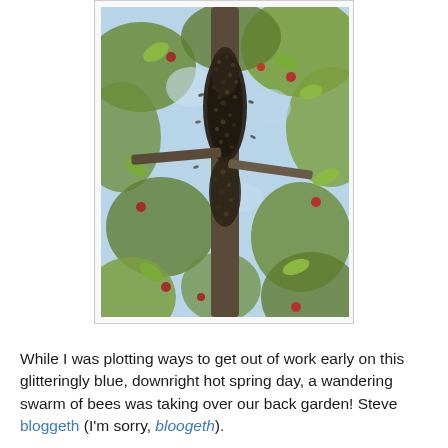[Figure (photo): A swarm of bees clustered densely around a tree branch or trunk, surrounded by green leafy branches and small red fruits, photographed from below looking up against a bright sky.]
While I was plotting ways to get out of work early on this glitteringly blue, downright hot spring day, a wandering swarm of bees was taking over our back garden! Steve bloggeth (I'm sorry, bloogeth).